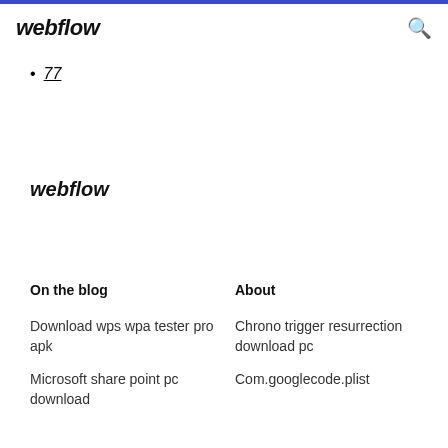webflow
77
webflow
On the blog
About
Download wps wpa tester pro apk
Chrono trigger resurrection download pc
Microsoft share point pc download
Com.googlecode.plist